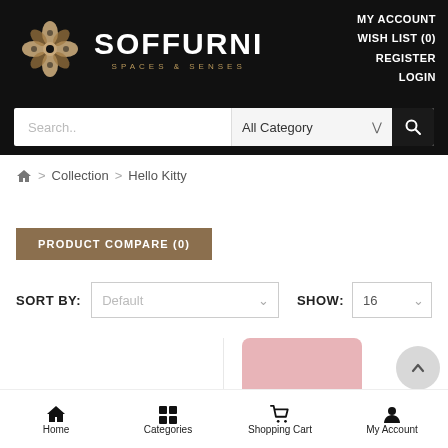[Figure (logo): Soffurni brand logo with ornate gold flower emblem and text 'SOFFURNI SPACES & SENSES' on black background]
MY ACCOUNT
WISH LIST (0)
REGISTER
LOGIN
Search...
All Category
Home > Collection > Hello Kitty
PRODUCT COMPARE (0)
SORT BY: Default   SHOW: 16
Home   Categories   Shopping Cart   My Account